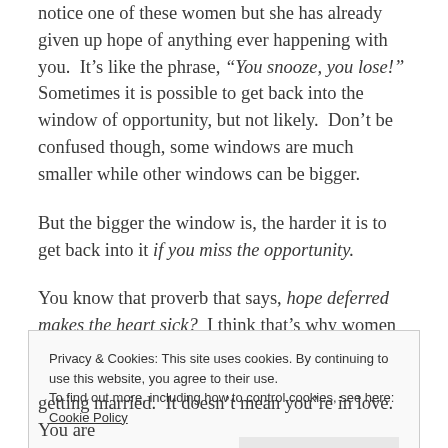notice one of these women but she has already given up hope of anything ever happening with you.  It’s like the phrase, “You snooze, you lose!”  Sometimes it is possible to get back into the window of opportunity, but not likely.  Don’t be confused though, some windows are much smaller while other windows can be bigger.
But the bigger the window is, the harder it is to get back into it if you miss the opportunity.
You know that proverb that says, hope deferred makes the heart sick?  I think that’s why women don’t keep that
Privacy & Cookies: This site uses cookies. By continuing to use this website, you agree to their use.
To find out more, including how to control cookies, see here: Cookie Policy
getting married.  It doesn’t mean you’re in love.  You are